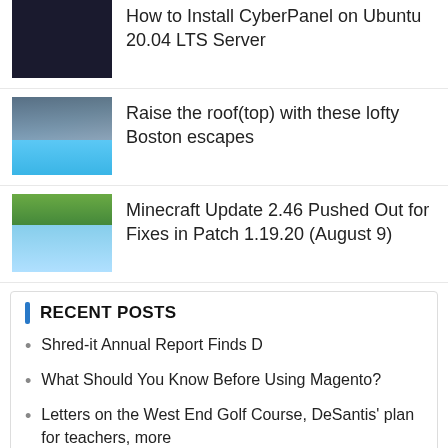How to Install CyberPanel on Ubuntu 20.04 LTS Server
Raise the roof(top) with these lofty Boston escapes
Minecraft Update 2.46 Pushed Out for Fixes in Patch 1.19.20 (August 9)
RECENT POSTS
Shred-it Annual Report Finds D
What Should You Know Before Using Magento?
Letters on the West End Golf Course, DeSantis' plan for teachers, more
How Does VPS Hosting Improve Website Page Speed?
Key differences between MetaTrader and other popular online trading platforms – Tech Observer